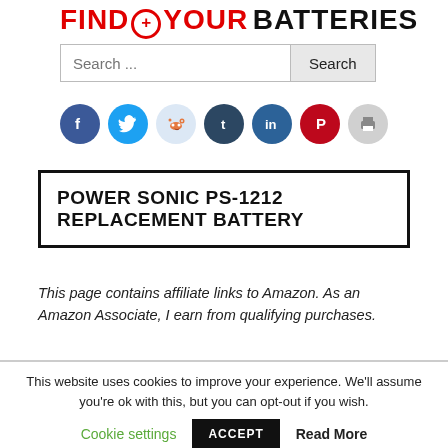FIND YOUR BATTERIES
[Figure (other): Search bar with text input 'Search ...' and Search button]
[Figure (infographic): Social media icon row: Facebook, Twitter, Reddit, Tumblr, LinkedIn, Pinterest, Print]
POWER SONIC PS-1212 REPLACEMENT BATTERY
This page contains affiliate links to Amazon. As an Amazon Associate, I earn from qualifying purchases.
This website uses cookies to improve your experience. We'll assume you're ok with this, but you can opt-out if you wish.
Cookie settings  ACCEPT  Read More